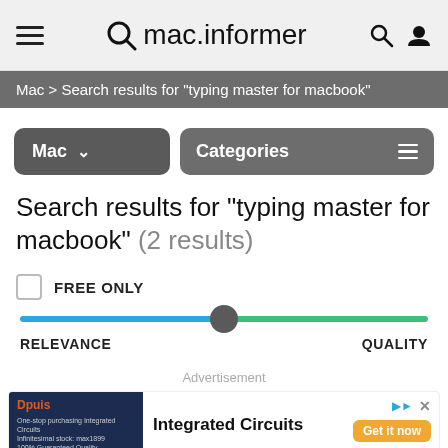mac.informer
Mac > Search results for "typing master for macbook"
Mac  Categories
Search results for "typing master for macbook" (2 results)
FREE ONLY
[Figure (other): Relevance-quality slider with blue left track and green right track, thumb positioned at center]
RELEVANCE    QUALITY
Advertisement
[Figure (other): Advertisement banner for Integrated Circuits with dark blue image on left and bold heading on right]